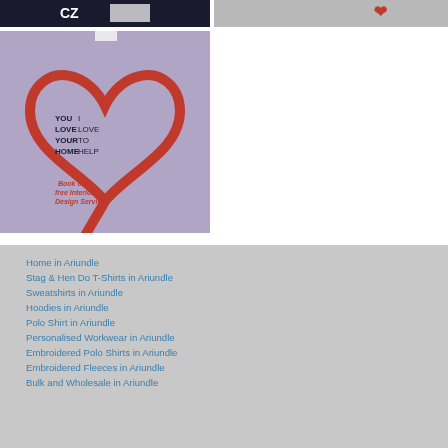[Figure (photo): Dark navy t-shirt with white logo/text, partial view]
[Figure (photo): Light grey t-shirt with red heart logo, partial view]
[Figure (photo): Grey t-shirt with red heart outline design and text: YOU I / LOVE LOVE / YOUR TO / HOME HELP and 'Book our free Interior Design Service']
Home in Ariundle
Stag & Hen Do T-Shirts in Ariundle
Sweatshirts in Ariundle
Hoodies in Ariundle
Polo Shirt in Ariundle
Personalised Workwear in Ariundle
Embroidered Polo Shirts in Ariundle
Embroidered Fleeces in Ariundle
Bulk and Wholesale in Ariundle